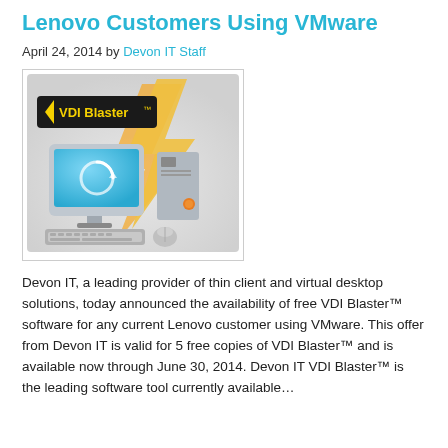Lenovo Customers Using VMware
April 24, 2014 by Devon IT Staff
[Figure (illustration): VDI Blaster logo with lightning bolt, a desktop computer with blue screen and refresh icon, tower PC, keyboard and mouse on grey background]
Devon IT, a leading provider of thin client and virtual desktop  solutions, today announced the availability of free VDI Blaster™ software for any current Lenovo customer using VMware. This offer from Devon IT is valid for 5 free copies of VDI Blaster™ and is available now through June 30, 2014. Devon IT VDI Blaster™ is the leading software tool currently available...